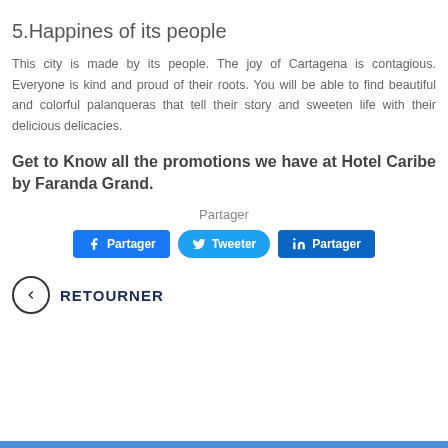5.Happines of its people
This city is made by its people. The joy of Cartagena is contagious. Everyone is kind and proud of their roots. You will be able to find beautiful and colorful palanqueras that tell their story and sweeten life with their delicious delicacies.
Get to Know all the promotions we have at Hotel Caribe by Faranda Grand.
Partager
[Figure (other): Social sharing buttons: Facebook Partager, Twitter Tweeter, LinkedIn Partager]
RETOURNER